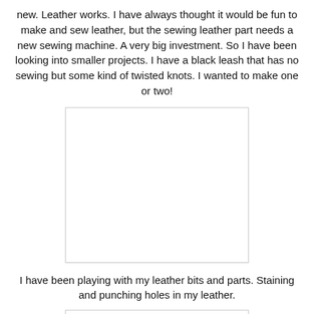new. Leather works. I have always thought it would be fun to make and sew leather, but the sewing leather part needs a new sewing machine. A very big investment. So I have been looking into smaller projects. I have a black leash that has no sewing but some kind of twisted knots. I wanted to make one or two!
[Figure (photo): A blank/white placeholder image, likely a photo of leather work]
I have been playing with my leather bits and parts. Staining and punching holes in my leather.
[Figure (photo): A partial blank/white placeholder image visible at the bottom of the page]